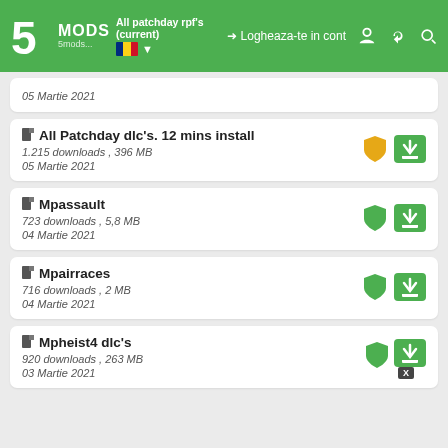5MODS - All patchday rpf's (current) - Logheaza-te in cont
05 Martie 2021
All Patchday dlc's. 12 mins install
1.215 downloads , 396 MB
05 Martie 2021
Mpassault
723 downloads , 5,8 MB
04 Martie 2021
Mpairraces
716 downloads , 2 MB
04 Martie 2021
Mpheist4 dlc's
920 downloads , 263 MB
03 Martie 2021